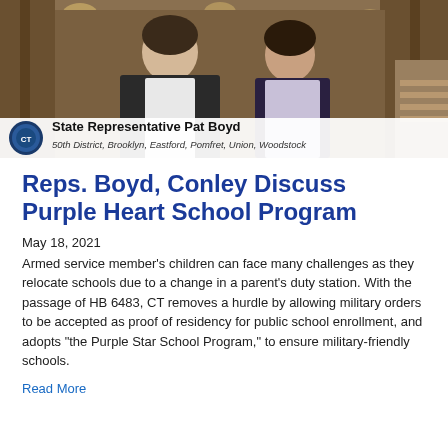[Figure (photo): Two people (a man and a woman) standing together in what appears to be a government building. Lower bar shows Connecticut state seal and text 'State Representative Pat Boyd, 50th District, Brooklyn, Eastford, Pomfret, Union, Woodstock']
Reps. Boyd, Conley Discuss Purple Heart School Program
May 18, 2021
Armed service member's children can face many challenges as they relocate schools due to a change in a parent's duty station. With the passage of HB 6483, CT removes a hurdle by allowing military orders to be accepted as proof of residency for public school enrollment, and adopts "the Purple Star School Program," to ensure military-friendly schools.
Read More